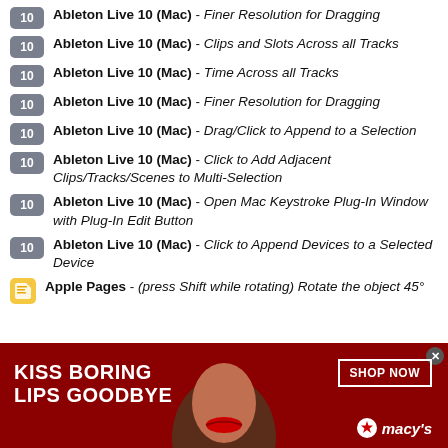Ableton Live 10 (Mac) - Finer Resolution for Dragging
Ableton Live 10 (Mac) - Clips and Slots Across all Tracks
Ableton Live 10 (Mac) - Time Across all Tracks
Ableton Live 10 (Mac) - Finer Resolution for Dragging
Ableton Live 10 (Mac) - Drag/Click to Append to a Selection
Ableton Live 10 (Mac) - Click to Add Adjacent Clips/Tracks/Scenes to Multi-Selection
Ableton Live 10 (Mac) - Open Mac Keystroke Plug-In Window with Plug-In Edit Button
Ableton Live 10 (Mac) - Click to Append Devices to a Selected Device
Apple Pages - (press Shift while rotating) Rotate the object 45°
[Figure (infographic): Macy's advertisement banner with red background, woman's face, text 'KISS BORING LIPS GOODBYE', 'SHOP NOW' button, and Macy's star logo]